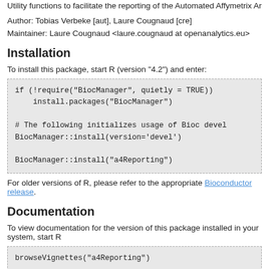Utility functions to facilitate the reporting of the Automated Affymetrix Array Analysis Re
Author: Tobias Verbeke [aut], Laure Cougnaud [cre]
Maintainer: Laure Cougnaud <laure.cougnaud at openanalytics.eu>
Installation
To install this package, start R (version "4.2") and enter:
if (!require("BiocManager", quietly = TRUE))
    install.packages("BiocManager")

# The following initializes usage of Bioc devel
BiocManager::install(version='devel')

BiocManager::install("a4Reporting")
For older versions of R, please refer to the appropriate Bioconductor release.
Documentation
To view documentation for the version of this package installed in your system, start R
browseVignettes("a4Reporting")